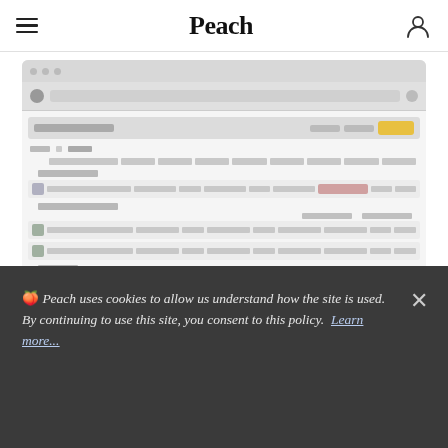Peach
[Figure (screenshot): Screenshot of a web application interface showing a campaign management dashboard with blurred/grayed-out table rows, campaign listings, and a browser chrome at the top.]
🍑 Peach uses cookies to allow us understand how the site is used. By continuing to use this site, you consent to this policy. Learn more...